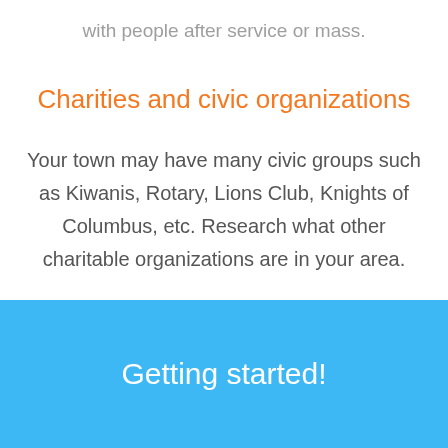with people after service or mass.
Charities and civic organizations
Your town may have many civic groups such as Kiwanis, Rotary, Lions Club, Knights of Columbus, etc. Research what other charitable organizations are in your area.
Getting started!